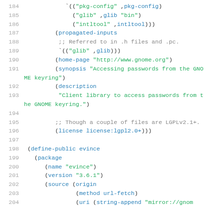Source code listing lines 184-204, Guix package definitions for gnome-keyring and evince packages in Scheme/Guile syntax